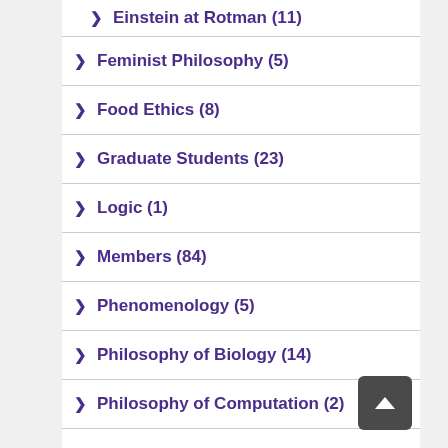Einstein at Rotman (11)
Feminist Philosophy (5)
Food Ethics (8)
Graduate Students (23)
Logic (1)
Members (84)
Phenomenology (5)
Philosophy of Biology (14)
Philosophy of Computation (2)